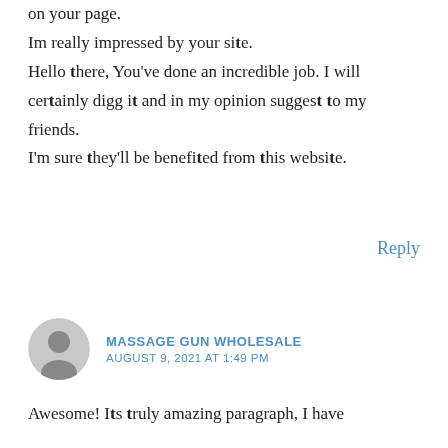on your page.
Im really impressed by your site.
Hello there, You've done an incredible job. I will certainly digg it and in my opinion suggest to my friends.
I'm sure they'll be benefited from this website.
Reply
MASSAGE GUN WHOLESALE
AUGUST 9, 2021 AT 1:49 PM
Awesome! Its truly amazing paragraph, I have